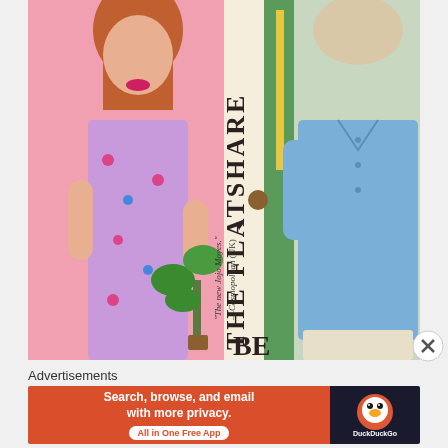[Figure (illustration): Book cover of 'The Flatshare' showing two illustrated figures — a woman in a purple floral dress on a pink background (left) and a man in a blue shirt on a light background (right), separated by a green door spine. Text reads 'THE FLATSHARE' vertically on the spine with a heart symbol. A blurb reads: "The new Jojo Moyes." —Cosmopolitan (UK). A plant is visible near the bottom center.]
Advertisements
[Figure (screenshot): DuckDuckGo advertisement banner. Left orange section reads: 'Search, browse, and email with more privacy. All in One Free App'. Right dark section shows DuckDuckGo logo and name.]